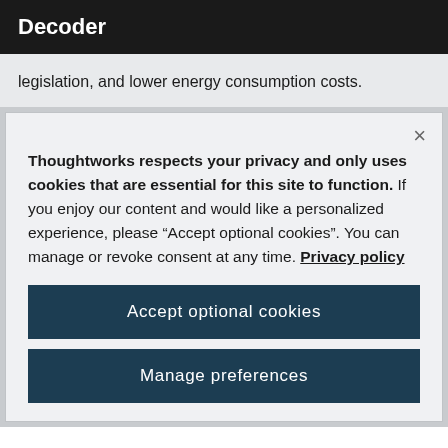Decoder
legislation, and lower energy consumption costs.
Thoughtworks respects your privacy and only uses cookies that are essential for this site to function. If you enjoy our content and would like a personalized experience, please “Accept optional cookies”. You can manage or revoke consent at any time. Privacy policy
Accept optional cookies
Manage preferences